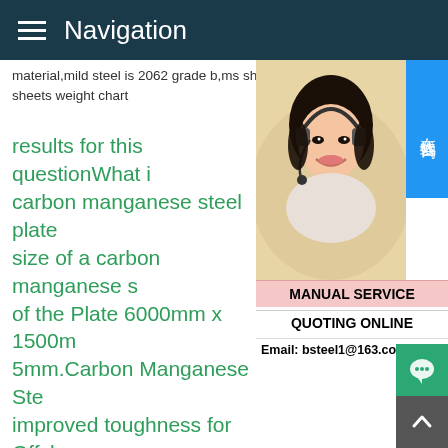Navigation
material,mild steel is 2062 grade b,ms she sheets weight chart
results for this questionWhat is carbon manganese steel plate size of a carbon manganese s of the Plate 6000mm x 1500m 5mm.Carbon Manganese Ste improved toughness for Offsho structure.Chequered Plates fo in Sheets Size 1mx2m and 4' 1.50 mm,1.60 mm and 1.80 mm.Packing Sheets packed in bundles,each weighing between 3 to 5 M/Tons.Chequered Plates in Aluminum,Mild Steel,SS,Manganese Steel results for this questionWhat are the types o checkered steel plates?What are the types checkered steel plates?Checkered steel pla
[Figure (photo): Customer service representative woman wearing headset, smiling, with MANUAL SERVICE and QUOTING ONLINE text and Email: bsteel1@163.com below]
MANUAL SERVICE
QUOTING ONLINE
Email: bsteel1@163.com